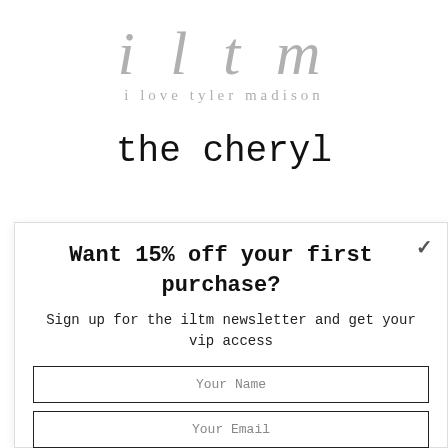iltm
i love tyler madison
the cheryl
Want 15% off your first purchase?
Sign up for the iltm newsletter and get your vip access
Your Name
Your Email
SUBSCRIBE!